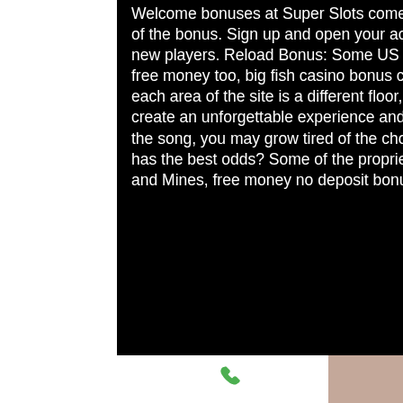Welcome bonuses at Super Slots come with a maximum cashout restriction of 10 times the size of the bonus. Sign up and open your account to earn freeroll tickets and exclusive buy-ins for new players. Reload Bonus: Some US poker rooms offer regular customers the chance to earn free money too, big fish casino bonus codes. A lavish apartment complex fills the screen and each area of the site is a different floor, can roulette really be beaten. The whimsical graphics create an unforgettable experience and the music stands out too though after a few rounds of the song, you may grow tired of the chorus and want the volume off. Which online casino game has the best odds? Some of the proprietary games that offer the best odds are titles like Crash and Mines, free money no deposit bonus codes. Slot machines are some of the best ways for a
Phone | Email | Facebook icons